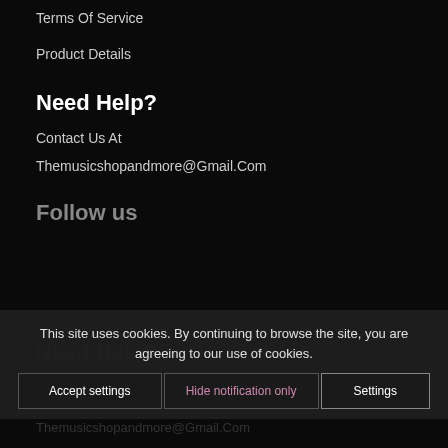Terms Of Service
Product Details
Need Help?
Contact Us At
Themusicshopandmore@Gmail.Com
Follow us
This site uses cookies. By continuing to browse the site, you are agreeing to our use of cookies.
Accept settings  Hide notification only  Settings